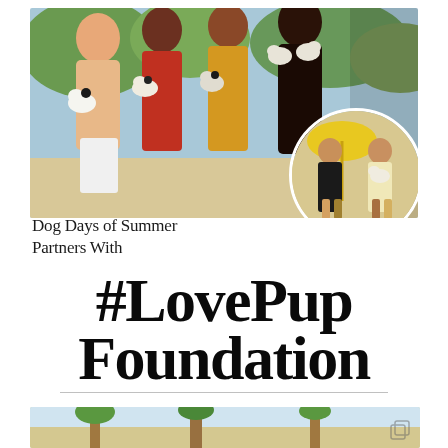[Figure (photo): Group of four people holding puppies in a summer outdoor setting, photo collage with circular inset of two women in swimwear holding puppies]
Dog Days of Summer Partners With
#LovePup Foundation
[Figure (photo): Bottom outdoor photo showing palm trees in a summer setting]